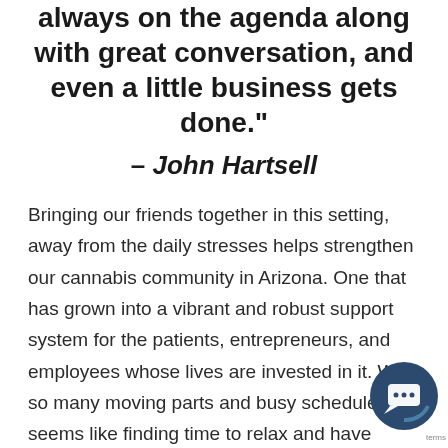always on the agenda along with great conversation, and even a little business gets done."
– John Hartsell
Bringing our friends together in this setting, away from the daily stresses helps strengthen our cannabis community in Arizona. One that has grown into a vibrant and robust support system for the patients, entrepreneurs, and employees whose lives are invested in it. With so many moving parts and busy schedules, it seems like finding time to relax and have some fun is becoming less and less of a priority these days. Thankfully, our customers